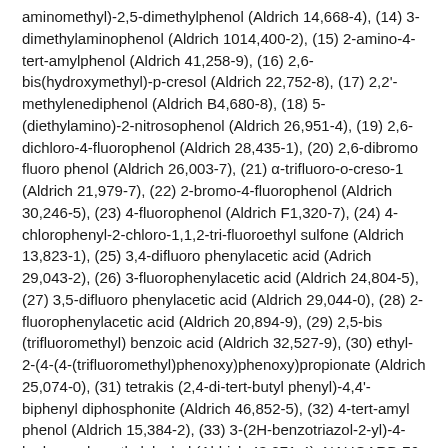aminomethyl)-2,5-dimethylphenol (Aldrich 14,668-4), (14) 3-dimethylaminophenol (Aldrich 1014,400-2), (15) 2-amino-4-tert-amylphenol (Aldrich 41,258-9), (16) 2,6-bis(hydroxymethyl)-p-cresol (Aldrich 22,752-8), (17) 2,2'-methylenediphenol (Aldrich B4,680-8), (18) 5-(diethylamino)-2-nitrosophenol (Aldrich 26,951-4), (19) 2,6-dichloro-4-fluorophenol (Aldrich 28,435-1), (20) 2,6-dibromo fluoro phenol (Aldrich 26,003-7), (21) α-trifluoro-o-creso-1 (Aldrich 21,979-7), (22) 2-bromo-4-fluorophenol (Aldrich 30,246-5), (23) 4-fluorophenol (Aldrich F1,320-7), (24) 4-chlorophenyl-2-chloro-1,1,2-tri-fluoroethyl sulfone (Aldrich 13,823-1), (25) 3,4-difluoro phenylacetic acid (Adrich 29,043-2), (26) 3-fluorophenylacetic acid (Aldrich 24,804-5), (27) 3,5-difluoro phenylacetic acid (Aldrich 29,044-0), (28) 2-fluorophenylacetic acid (Aldrich 20,894-9), (29) 2,5-bis (trifluoromethyl) benzoic acid (Aldrich 32,527-9), (30) ethyl-2-(4-(4-(trifluoromethyl)phenoxy)phenoxy)propionate (Aldrich 25,074-0), (31) tetrakis (2,4-di-tert-butyl phenyl)-4,4'-biphenyl diphosphonite (Aldrich 46,852-5), (32) 4-tert-amyl phenol (Aldrich 15,384-2), (33) 3-(2H-benzotriazol-2-yl)-4-hydroxy phenethylalcohol (Aldrich 43,071-4), NAUGARD 76, NAUGARD 445, NAUGARD 512,